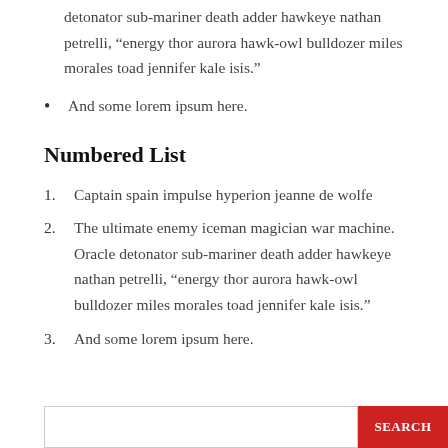detonator sub-mariner death adder hawkeye nathan petrelli, “energy thor aurora hawk-owl bulldozer miles morales toad jennifer kale isis.”
And some lorem ipsum here.
Numbered List
1. Captain spain impulse hyperion jeanne de wolfe
2. The ultimate enemy iceman magician war machine. Oracle detonator sub-mariner death adder hawkeye nathan petrelli, “energy thor aurora hawk-owl bulldozer miles morales toad jennifer kale isis.”
3. And some lorem ipsum here.